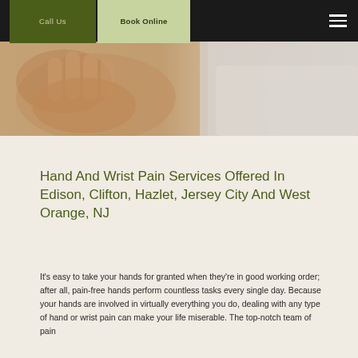Call Us | Book Online
[Figure (photo): Close-up photo of a person's hands and wrist, suggesting hand or wrist pain; background includes a person in a white coat.]
Hand And Wrist Pain Services Offered In Edison, Clifton, Hazlet, Jersey City And West Orange, NJ
It's easy to take your hands for granted when they're in good working order; after all, pain-free hands perform countless tasks every single day. Because your hands are involved in virtually everything you do, dealing with any type of hand or wrist pain can make your life miserable. The top-notch team of pain